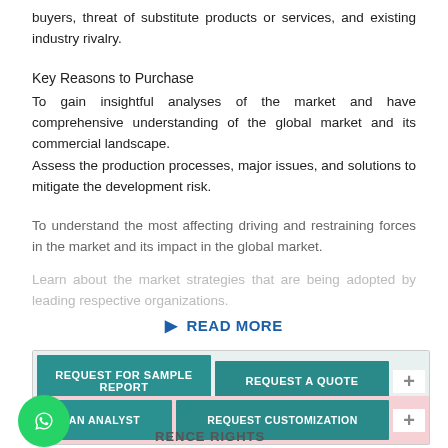buyers, threat of substitute products or services, and existing industry rivalry.
Key Reasons to Purchase
To gain insightful analyses of the market and have comprehensive understanding of the global market and its commercial landscape.
Assess the production processes, major issues, and solutions to mitigate the development risk.
To understand the most affecting driving and restraining forces in the market and its impact in the global market.
Learn about the market strategies that are being adopted by leading respective organizations.
READ MORE
[Figure (screenshot): Webpage UI with four teal call-to-action buttons: REQUEST FOR SAMPLE REPORT, REQUEST A QUOTE, AN ANALYST (partial), REQUEST CUSTOMIZATION, a plus button, and a WhatsApp floating chat icon.]